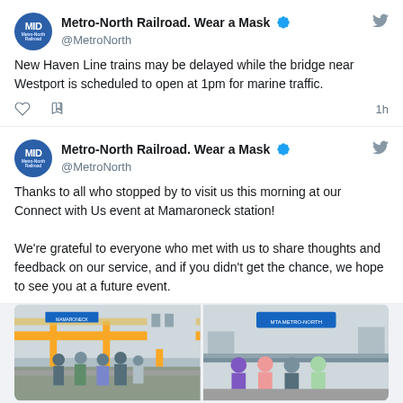Metro-North Railroad. Wear a Mask @MetroNorth
New Haven Line trains may be delayed while the bridge near Westport is scheduled to open at 1pm for marine traffic.
1h
Metro-North Railroad. Wear a Mask @MetroNorth
Thanks to all who stopped by to visit us this morning at our Connect with Us event at Mamaroneck station!

We're grateful to everyone who met with us to share thoughts and feedback on our service, and if you didn't get the chance, we hope to see you at a future event.
[Figure (photo): Two side-by-side photos from a Metro-North Connect with Us event at Mamaroneck station. Left photo shows a group of people in business casual attire gathered on a train platform. Right photo shows three women and a man posing together at the station.]